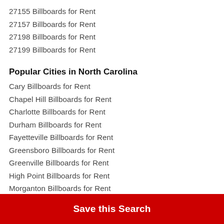27155 Billboards for Rent
27157 Billboards for Rent
27198 Billboards for Rent
27199 Billboards for Rent
Popular Cities in North Carolina
Cary Billboards for Rent
Chapel Hill Billboards for Rent
Charlotte Billboards for Rent
Durham Billboards for Rent
Fayetteville Billboards for Rent
Greensboro Billboards for Rent
Greenville Billboards for Rent
High Point Billboards for Rent
Morganton Billboards for Rent
Save this Search